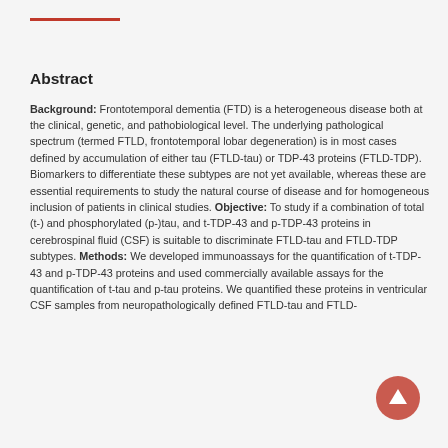Abstract
Background: Frontotemporal dementia (FTD) is a heterogeneous disease both at the clinical, genetic, and pathobiological level. The underlying pathological spectrum (termed FTLD, frontotemporal lobar degeneration) is in most cases defined by accumulation of either tau (FTLD-tau) or TDP-43 proteins (FTLD-TDP). Biomarkers to differentiate these subtypes are not yet available, whereas these are essential requirements to study the natural course of disease and for homogeneous inclusion of patients in clinical studies. Objective: To study if a combination of total (t-) and phosphorylated (p-)tau, and t-TDP-43 and p-TDP-43 proteins in cerebrospinal fluid (CSF) is suitable to discriminate FTLD-tau and FTLD-TDP subtypes. Methods: We developed immunoassays for the quantification of t-TDP-43 and p-TDP-43 proteins and used commercially available assays for the quantification of t-tau and p-tau proteins. We quantified these proteins in ventricular CSF samples from neuropathologically defined FTLD-tau and FTLD-